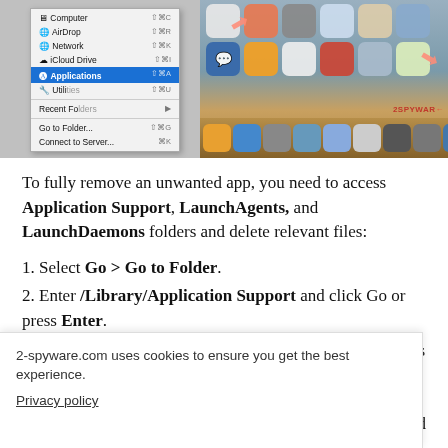[Figure (screenshot): macOS Finder Go menu with Applications highlighted in blue, and macOS dock visible on the right with pink arrows pointing to icons. 2SPYWARE watermark visible.]
To fully remove an unwanted app, you need to access Application Support, LaunchAgents, and LaunchDaemons folders and delete relevant files:
1. Select Go > Go to Folder.
2. Enter /Library/Application Support and click Go or press Enter.
3. In the Application Support folder, look for any dubious
2-spyware.com uses cookies to ensure you get the best experience.
Privacy policy
Agree
e way and